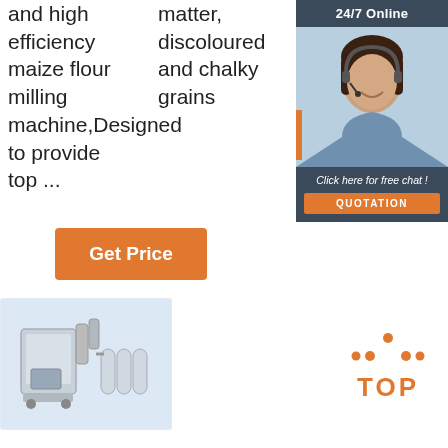and high efficiency maize flour milling machine,Designed to provide top ...
matter, discoloured and chalky grains
Get Price
[Figure (photo): Customer service representative with headset, 24/7 Online chat widget with QUOTATION button]
[Figure (photo): Industrial maize flour milling machine with ducts and filter bags]
[Figure (logo): TOP logo with orange dot triangle above text]